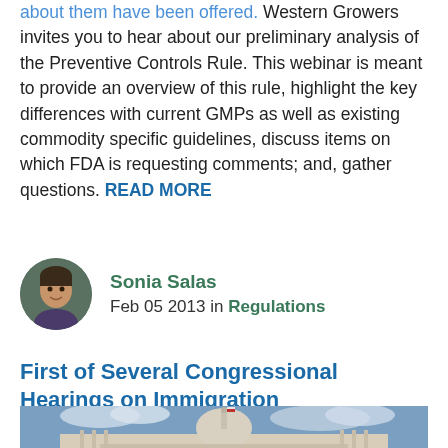about them have been offered. Western Growers invites you to hear about our preliminary analysis of the Preventive Controls Rule. This webinar is meant to provide an overview of this rule, highlight the key differences with current GMPs as well as existing commodity specific guidelines, discuss items on which FDA is requesting comments; and, gather questions. READ MORE
Sonia Salas
Feb 05 2013 in Regulations
First of Several Congressional Hearings on Immigration
[Figure (photo): Photograph of the United States Capitol building with a cloudy sky in the background]